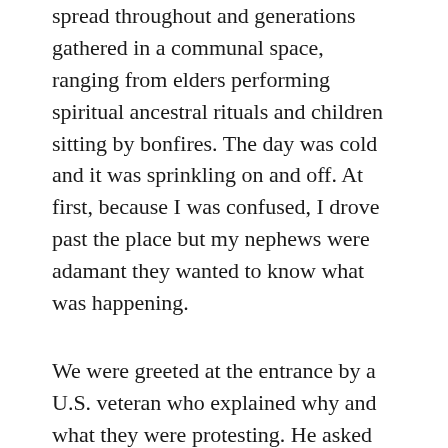spread throughout and generations gathered in a communal space, ranging from elders performing spiritual ancestral rituals and children sitting by bonfires. The day was cold and it was sprinkling on and off. At first, because I was confused, I drove past the place but my nephews were adamant they wanted to know what was happening.
We were greeted at the entrance by a U.S. veteran who explained why and what they were protesting. He asked us not to take pictures of the protesters and described how the crowd included several indigenous gente from throughout the nation joining local folks as they brought awareness to the community about how the border wall would actually run across the cemetery and disturb human remains, several were unmarked Native American remains and others were